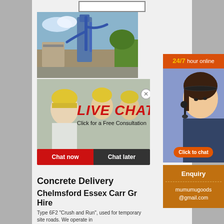[Figure (photo): Industrial machinery/silos with blue pipes and storage tanks outdoors]
[Figure (photo): Live chat widget: construction workers in yellow helmets with LIVE CHAT text and Click for a Free Consultation, Chat now / Chat later buttons]
[Figure (infographic): 24/7 hour online sidebar with customer service representative wearing headset, Click to chat button]
Enquiry
mumumugoods@gmail.com
Concrete Delivery
Chelmsford Essex Carr Gr Hire
Type 6F2 “Crush and Run”, used for temporary site roads. We operate in